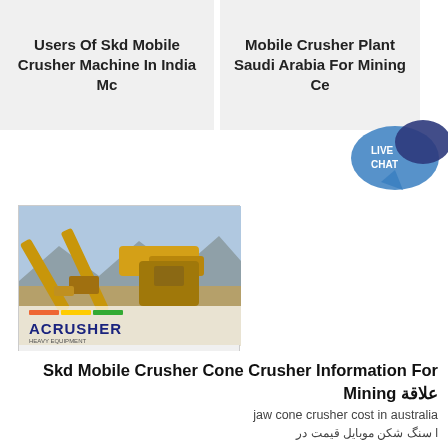Users Of Skd Mobile Crusher Machine In India Mc
Mobile Crusher Plant Saudi Arabia For Mining Ce
[Figure (photo): Photo of industrial mobile stone crusher equipment from Acrusher brand, yellow machinery with conveyor belts in an open mining site]
Mobile Stone Crusher Price In Iran
Mobile stone crushers price
Skd Mobile Crusher Cone Crusher Information For Mining علاقة
jaw cone crusher cost in australia